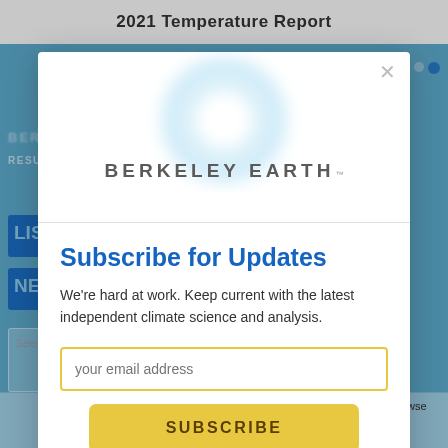[Figure (screenshot): Berkeley Earth website screenshot showing 2021 Temperature Report page with blue background, partially visible navigation and search interface, overlaid by a modal subscription dialog]
[Figure (logo): Berkeley Earth logo: circular blurred blue ring graphic above the text 'BERKELEY EARTH' with trademark symbol]
Subscribe for Updates
We're hard at work. Keep current with the latest independent climate science and analysis.
your email address (input field)
SUBSCRIBE (button)